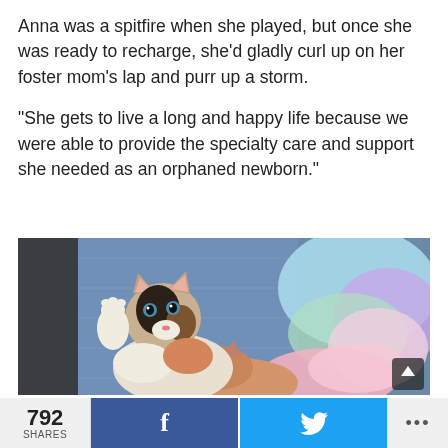Anna was a spitfire when she played, but once she was ready to recharge, she'd gladly curl up on her foster mom's lap and purr up a storm.
“She gets to live a long and happy life because we were able to provide the specialty care and support she needed as an orphaned newborn.”
[Figure (photo): Two small kittens resting together on a blue blanket with a colorful pastel stuffed animal. The foreground kitten is a calico with black, orange and white markings, wide blue eyes, and one paw raised up. A second kitten is partially visible behind, appearing pinkish/orange. The background shows blue denim fabric and a rainbow-colored fluffy stuffed toy.]
792 SHARES  [Facebook share button]  [Twitter share button]  [More options]